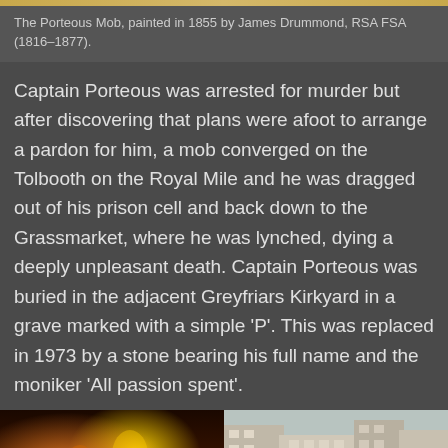The Porteous Mob, painted in 1855 by James Drummond, RSA FSA (1816–1877).
Captain Porteous was arrested for murder but after discovering that plans were afoot to arrange a pardon for him, a mob converged on the Tolbooth on the Royal Mile and he was dragged out of his prison cell and back down to the Grassmarket, where he was lynched, dying a deeply unpleasant death. Captain Porteous was buried in the adjacent Greyfriars Kirkyard in a grave marked with a simple 'P'. This was replaced in 1973 by a stone bearing his full name and the moniker 'All passion spent'.
[Figure (photo): Two photos side by side: left shows a colorful mural painting depicting figures, right shows a street scene with a red/burgundy wide-brimmed hat in the foreground and historic Edinburgh buildings in the background.]